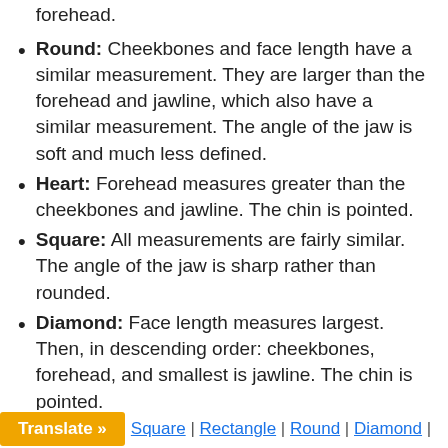forehead.
Round: Cheekbones and face length have a similar measurement. They are larger than the forehead and jawline, which also have a similar measurement. The angle of the jaw is soft and much less defined.
Heart: Forehead measures greater than the cheekbones and jawline. The chin is pointed.
Square: All measurements are fairly similar. The angle of the jaw is sharp rather than rounded.
Diamond: Face length measures largest. Then, in descending order: cheekbones, forehead, and smallest is jawline. The chin is pointed.
How To Choose The Right Haircut For Your Face Shape
Translate » | Square | Rectangle | Round | Diamond |